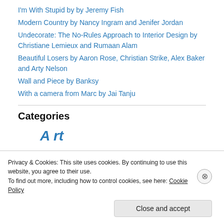I'm With Stupid by by Jeremy Fish
Modern Country by Nancy Ingram and Jenifer Jordan
Undecorate: The No-Rules Approach to Interior Design by Christiane Lemieux and Rumaan Alam
Beautiful Losers by Aaron Rose, Christian Strike, Alex Baker and Arty Nelson
Wall and Piece by Banksy
With a camera from Marc by Jai Tanju
Categories
Art
Privacy & Cookies: This site uses cookies. By continuing to use this website, you agree to their use.
To find out more, including how to control cookies, see here: Cookie Policy
Close and accept